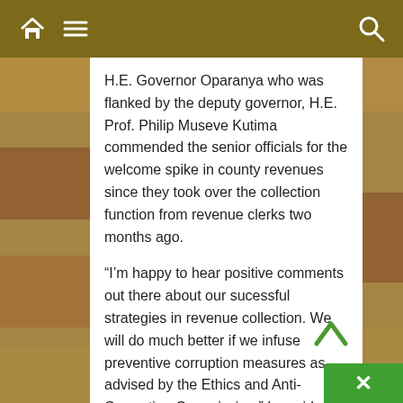Navigation bar with home, menu, and search icons
H.E. Governor Oparanya who was flanked by the deputy governor, H.E. Prof. Philip Museve Kutima commended the senior officials for the welcome spike in county revenues since they took over the collection function from revenue clerks two months ago.
“I’m happy to hear positive comments out there about our sucessful strategies in revenue collection. We will do much better if we infuse preventive corruption measures as advised by the Ethics and Anti-Corruption Commission,” he said.
Fighting corruption will be done alongside review of our financial systems to map out gaps and weaknesses, he said.
He directed the County Revenue...